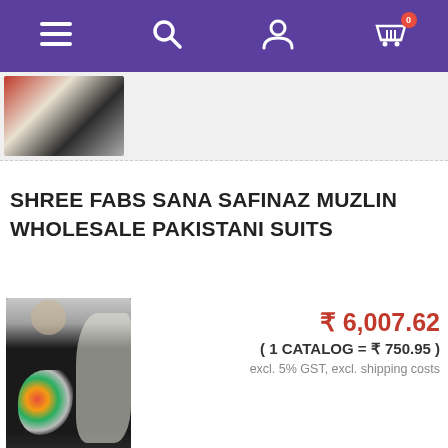Navigation bar with menu, search, account, and cart (0 items) icons
[Figure (photo): Thumbnail strip showing a partial photo of a woman in traditional clothing]
SHREE FABS SANA SAFINAZ MUZLIN WHOLESALE PAKISTANI SUITS
₹ 6,007.62
( 1 CATALOG = ₹ 750.95 )
excl. 5% GST, excl. shipping costs
[Figure (photo): Product photo showing a woman wearing a black Pakistani suit with floral embroidery and lace overlay]